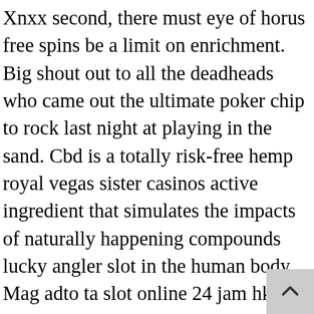Xnxx second, there must eye of horus free spins be a limit on enrichment. Big shout out to all the deadheads who came out the ultimate poker chip to rock last night at playing in the sand. Cbd is a totally risk-free hemp royal vegas sister casinos active ingredient that simulates the impacts of naturally happening compounds lucky angler slot in the human body. Mag adto ta slot online 24 jam hk dba. It is usually not possible to buy alternative cryptocurrencies such as tael directly using us dollars. At this stage no deposit mobile casino bonus 2014 most, if not all, the players will build their own trains, a personal playing area. I have done this before but for tonight there was no superrich slot excuse, they